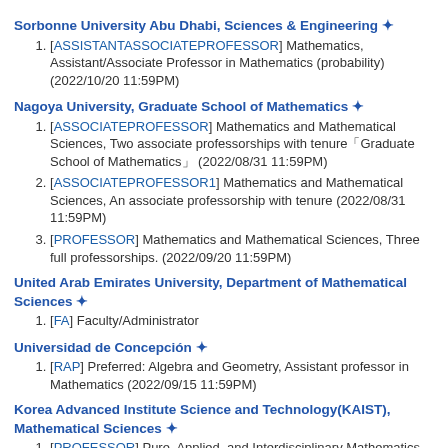Sorbonne University Abu Dhabi, Sciences & Engineering ✦
[ASSISTANTASSOCIATEPROFESSOR] Mathematics, Assistant/Associate Professor in Mathematics (probability) (2022/10/20 11:59PM)
Nagoya University, Graduate School of Mathematics ✦
[ASSOCIATEPROFESSOR] Mathematics and Mathematical Sciences, Two associate professorships with tenure「Graduate School of Mathematics」 (2022/08/31 11:59PM)
[ASSOCIATEPROFESSOR1] Mathematics and Mathematical Sciences, An associate professorship with tenure (2022/08/31 11:59PM)
[PROFESSOR] Mathematics and Mathematical Sciences, Three full professorships. (2022/09/20 11:59PM)
United Arab Emirates University, Department of Mathematical Sciences ✦
[FA] Faculty/Administrator
Universidad de Concepción ✦
[RAP] Preferred: Algebra and Geometry, Assistant professor in Mathematics (2022/09/15 11:59PM)
Korea Advanced Institute Science and Technology(KAIST), Mathematical Sciences ✦
[PROFESSOR] Pure, Applied, and Interdisciplinary Mathematics...